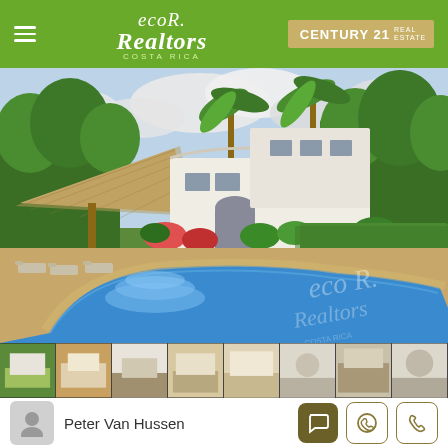[Figure (logo): Eco Realtors Costa Rica logo with green background and Century 21 badge]
[Figure (photo): Tropical property with large swimming pool, thatched palapa hut, lounge chairs, palm trees, and white Mediterranean-style house]
[Figure (photo): Thumbnail strip of 8 property photos]
Peter Van Hussen